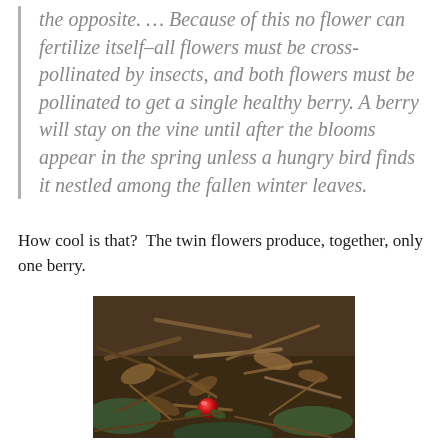the opposite. ... Because of this no flower can fertilize itself–all flowers must be cross-pollinated by insects, and both flowers must be pollinated to get a single healthy berry. A berry will stay on the vine until after the blooms appear in the spring unless a hungry bird finds it nestled among the fallen winter leaves.
How cool is that?  The twin flowers produce, together, only one berry.
[Figure (photo): Close-up photograph of a red cranberry or similar small red berry nestled among fallen brown sticks, twigs, leaves, and green groundcover plants.]